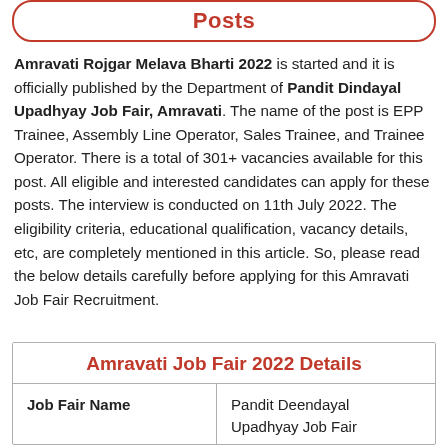Posts
Amravati Rojgar Melava Bharti 2022 is started and it is officially published by the Department of Pandit Dindayal Upadhyay Job Fair, Amravati. The name of the post is EPP Trainee, Assembly Line Operator, Sales Trainee, and Trainee Operator. There is a total of 301+ vacancies available for this post. All eligible and interested candidates can apply for these posts. The interview is conducted on 11th July 2022. The eligibility criteria, educational qualification, vacancy details, etc, are completely mentioned in this article. So, please read the below details carefully before applying for this Amravati Job Fair Recruitment.
| Job Fair Name |  |
| --- | --- |
| Job Fair Name | Pandit Deendayal Upadhyay Job Fair |